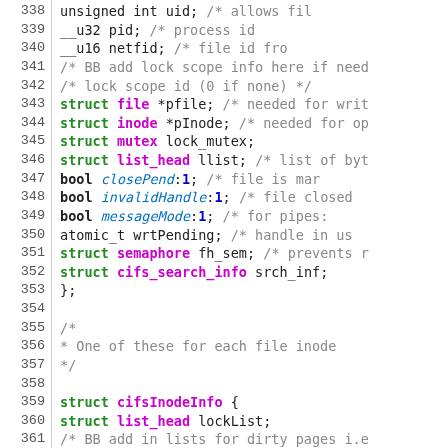[Figure (screenshot): Source code listing (C language) showing struct definitions with syntax highlighting. Lines 338-365 visible. Line numbers in left column, code in right area. Keywords in green bold, type names in magenta bold, field names in blue italic, comments in gray, numbers in blue bold.]